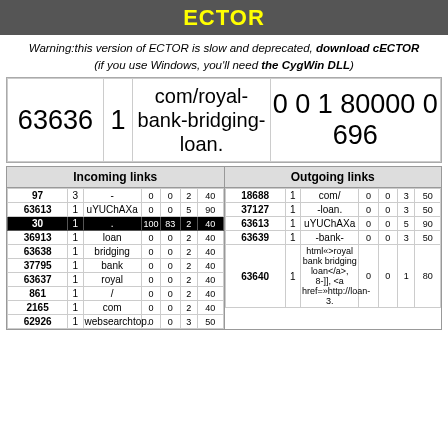ECTOR
Warning:this version of ECTOR is slow and deprecated, download cECTOR (if you use Windows, you'll need the CygWin DLL)
| ID | Score | Text | Col4 | Col5 | Col6 | Col7 |
| --- | --- | --- | --- | --- | --- | --- |
| 63636 | 1 | com/royal-bank-bridging-loan. | 0 | 0 | 1 | 80000 0696 |
Incoming links
Outgoing links
| ID |  | Text |  |  |  |  |
| --- | --- | --- | --- | --- | --- | --- |
| 97 | 3 | - | 0 | 0 | 2 | 40 |
| 63613 | 1 | uYUChAXa | 0 | 0 | 5 | 90 |
| 30 | 1 | . | 100 | 83 | 2 | 40 |
| 36913 | 1 | loan | 0 | 0 | 2 | 40 |
| 63638 | 1 | bridging | 0 | 0 | 2 | 40 |
| 37795 | 1 | bank | 0 | 0 | 2 | 40 |
| 63637 | 1 | royal | 0 | 0 | 2 | 40 |
| 861 | 1 | / | 0 | 0 | 2 | 40 |
| 2165 | 1 | com | 0 | 0 | 2 | 40 |
| 62926 | 1 | websearchtop. | 0 | 0 | 3 | 50 |
| ID |  | Text |  |  |  |  |
| --- | --- | --- | --- | --- | --- | --- |
| 18688 | 1 | com/ | 0 | 0 | 3 | 50 |
| 37127 | 1 | -loan. | 0 | 0 | 3 | 50 |
| 63613 | 1 | uYUChAXa | 0 | 0 | 5 | 90 |
| 63639 | 1 | -bank- | 0 | 0 | 3 | 50 |
| 63640 | 1 | html«>royal bank bridging loan</a>, 8-]], <a href=»http://loan-3. | 0 | 0 | 1 | 80 |